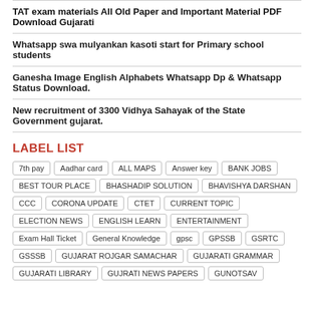TAT exam materials All Old Paper and Important Material PDF Download Gujarati
Whatsapp swa mulyankan kasoti start for Primary school students
Ganesha Image English Alphabets Whatsapp Dp & Whatsapp Status Download.
New recruitment of 3300 Vidhya Sahayak of the State Government gujarat.
LABEL LIST
7th pay, Aadhar card, ALL MAPS, Answer key, BANK JOBS, BEST TOUR PLACE, BHASHADIP SOLUTION, BHAVISHYA DARSHAN, CCC, CORONA UPDATE, CTET, CURRENT TOPIC, ELECTION NEWS, ENGLISH LEARN, ENTERTAINMENT, Exam Hall Ticket, General Knowledge, gpsc, GPSSB, GSRTC, GSSSB, GUJARAT ROJGAR SAMACHAR, GUJARATI GRAMMAR, GUJARATI LIBRARY, GUJRATI NEWS PAPERS, GUNOTSAV